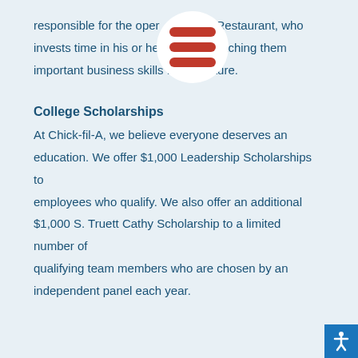responsible for the oper[ation of] the Restaurant, who invests time in his or he[r employe]es, teaching them important business skills for the future.
[Figure (illustration): A hamburger menu icon (three horizontal red lines) inside a white circle, overlaid on the text.]
College Scholarships
At Chick-fil-A, we believe everyone deserves an education. We offer $1,000 Leadership Scholarships to employees who qualify. We also offer an additional $1,000 S. Truett Cathy Scholarship to a limited number of qualifying team members who are chosen by an independent panel each year.